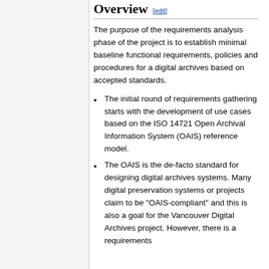Overview [edit]
The purpose of the requirements analysis phase of the project is to establish minimal baseline functional requirements, policies and procedures for a digital archives based on accepted standards.
The initial round of requirements gathering starts with the development of use cases based on the ISO 14721 Open Archival Information System (OAIS) reference model.
The OAIS is the de-facto standard for designing digital archives systems. Many digital preservation systems or projects claim to be "OAIS-compliant" and this is also a goal for the Vancouver Digital Archives project. However, there is a requirements